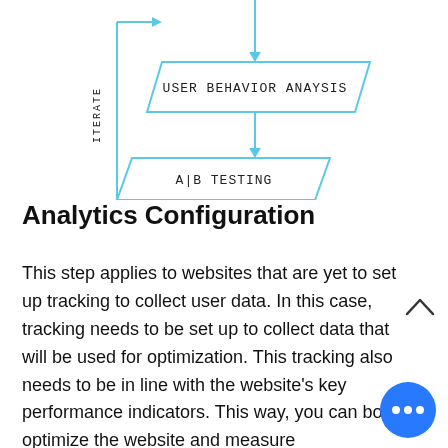[Figure (flowchart): Flowchart showing 'USER BEHAVIOR ANAYSIS' box with a downward arrow to 'A|B TESTING' box, and a left-side 'ITERATE' label with a loop arrow going back up.]
Analytics Configuration
This step applies to websites that are yet to set up tracking to collect user data. In this case, tracking needs to be set up to collect data that will be used for optimization. This tracking also needs to be in line with the website's key performance indicators. This way, you can bo optimize the website and measure